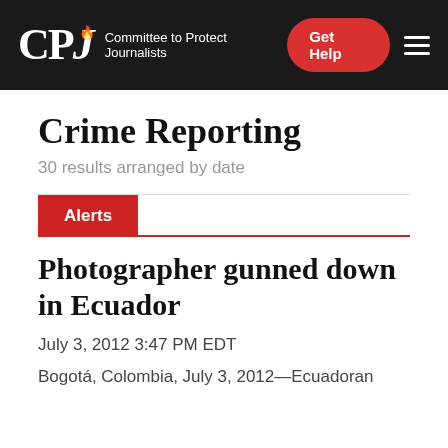CPJ Committee to Protect Journalists | Get Help
Crime Reporting
30 results arranged by date
Alerts
Photographer gunned down in Ecuador
July 3, 2012 3:47 PM EDT
Bogotá, Colombia, July 3, 2012—Ecuadoran